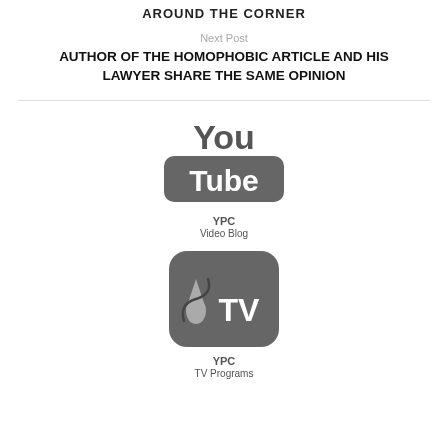AROUND THE CORNER
Next Post
AUTHOR OF THE HOMOPHOBIC ARTICLE AND HIS LAWYER SHARE THE SAME OPINION
[Figure (logo): YouTube logo (grayscale) with 'You' in large text above a rounded rectangle containing 'Tube' in white text]
YPC
Video Blog
[Figure (logo): YPC TV app icon: rounded square with dark gray background, water drop and swirl icon on left, 'TV' text on right in white]
YPC
TV Programs